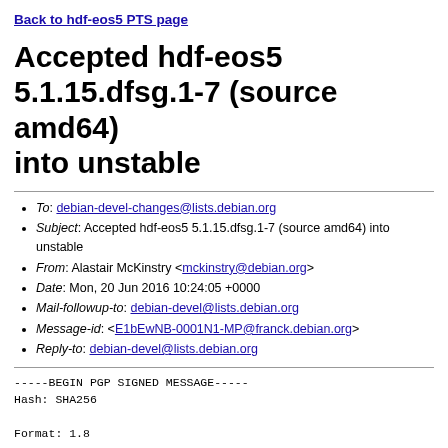Back to hdf-eos5 PTS page
Accepted hdf-eos5 5.1.15.dfsg.1-7 (source amd64) into unstable
To: debian-devel-changes@lists.debian.org
Subject: Accepted hdf-eos5 5.1.15.dfsg.1-7 (source amd64) into unstable
From: Alastair McKinstry <mckinstry@debian.org>
Date: Mon, 20 Jun 2016 10:24:05 +0000
Mail-followup-to: debian-devel@lists.debian.org
Message-id: <E1bEwNB-0001N1-MP@franck.debian.org>
Reply-to: debian-devel@lists.debian.org
-----BEGIN PGP SIGNED MESSAGE-----
Hash: SHA256

Format: 1.8